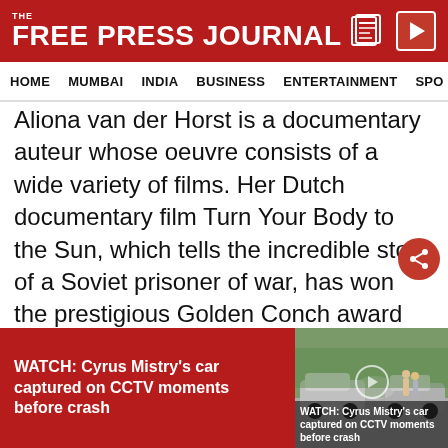THE FREE PRESS JOURNAL
HOME  MUMBAI  INDIA  BUSINESS  ENTERTAINMENT  SPO
Aliona van der Horst is a documentary auteur whose oeuvre consists of a wide variety of films. Her Dutch documentary film Turn Your Body to the Sun, which tells the incredible story of a Soviet prisoner of war, has won the prestigious Golden Conch award for Best Documentary Film at the recently concluded Mumbai International Film Festival (MIFF). Born as a child of a Russian mother and a Dutch father, her dual nationality has translated within her work. In four of her films, she depicts Russia's troubled history.
WATCH: Cyrus Mistry's car captured on CCTV moments before crash
[Figure (photo): Car accident scene — Cyrus Mistry's car captured on CCTV moments before crash]